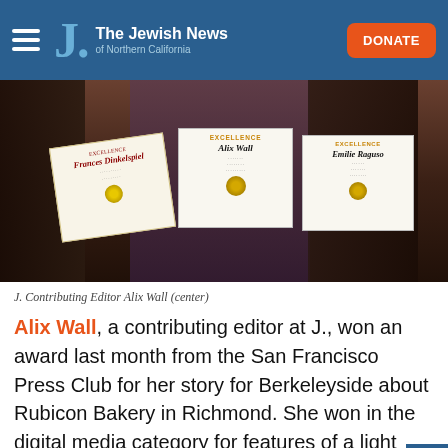The Jewish News of Northern California — DONATE
[Figure (photo): Three women holding award certificates. Left: Frances Dinkelspiel certificate, Center: Excellence – Alix Wall certificate, Right: Excellence – Emilie Raguso certificate.]
J. Contributing Editor Alix Wall (center)
Alix Wall, a contributing editor at J., won an award last month from the San Francisco Press Club for her story for Berkeleyside about Rubicon Bakery in Richmond. She won in the digital media category for features of a light nature. The press